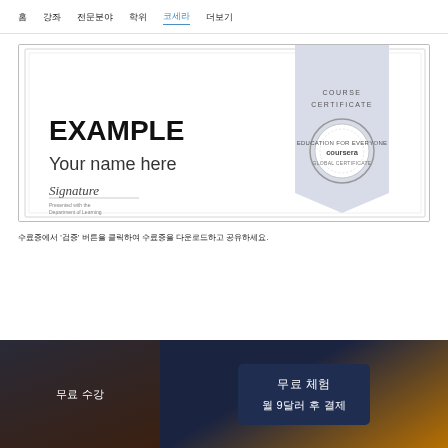홈  강좌  전문분야  학위  코세라  더보기
[Figure (illustration): Coursera course certificate example showing 'EXAMPLE' text, 'Your name here', a signature line, and Coursera stamp ribbon on the right side]
수료증에서 '검증' 버튼을 클릭하여 수료증을 다운로드하고 공유하세요.
무료 수강
무료 체험
월 9달러 후 결제